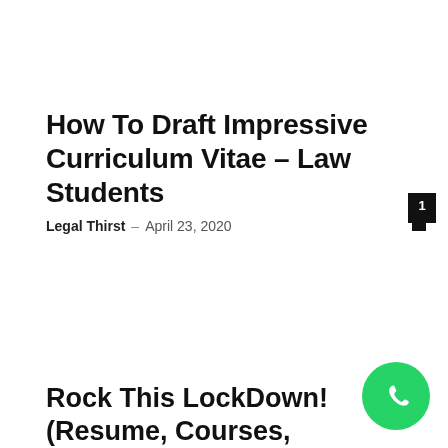How To Draft Impressive Curriculum Vitae – Law Students
Legal Thirst – April 23, 2020
Rock This LockDown! (Resume, Courses,
[Figure (logo): WhatsApp green circular button with phone handset icon]